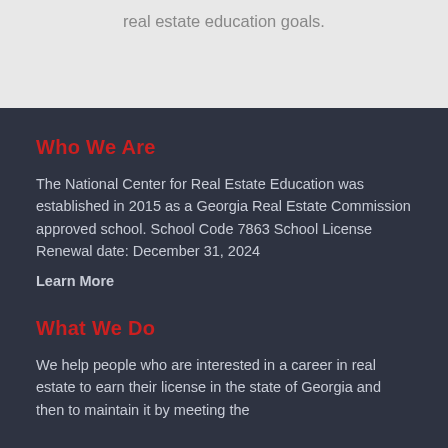real estate education goals.
Who We Are
The National Center for Real Estate Education was established in 2015 as a Georgia Real Estate Commission approved school. School Code 7863 School License Renewal date: December 31, 2024
Learn More
What We Do
We help people who are interested in a career in real estate to earn their license in the state of Georgia and then to maintain it by meeting the